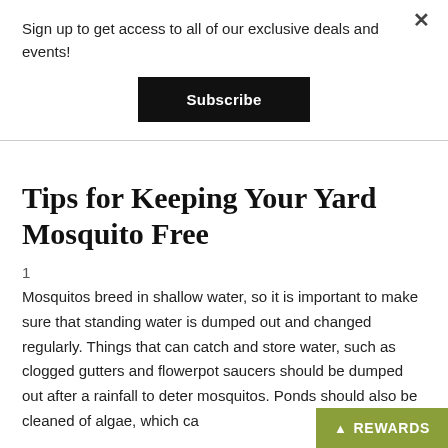Sign up to get access to all of our exclusive deals and events!
Subscribe
Tips for Keeping Your Yard Mosquito Free
1
Mosquitos breed in shallow water, so it is important to make sure that standing water is dumped out and changed regularly. Things that can catch and store water, such as clogged gutters and flowerpot saucers should be dumped out after a rainfall to deter mosquitos. Ponds should also be cleaned of algae, which ca
REWARDS